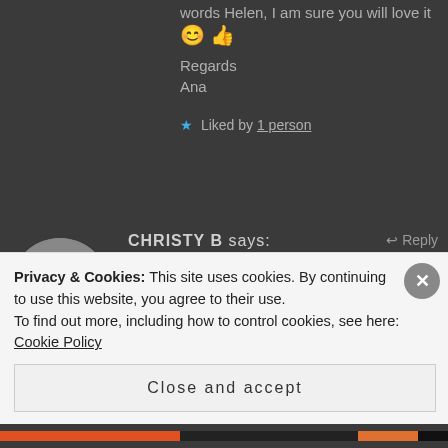words Helen, I am sure you will love it 😊 👍
Regards
Ana
★ Liked by 1 person
[Figure (photo): Circular avatar photo of Christy B, a woman with glasses and long hair, wearing a dark red top]
CHRISTY B says:    ↩ Reply
November 30, 2017 at 1:03 am
You are allowed in my kitchen to make this any time!
Privacy & Cookies: This site uses cookies. By continuing to use this website, you agree to their use.
To find out more, including how to control cookies, see here: Cookie Policy
Close and accept